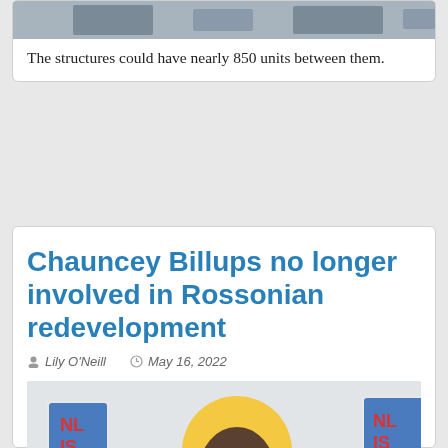[Figure (photo): Top of page showing partial image of a street scene with vehicles, cropped at the top of the page.]
The structures could have nearly 850 units between them.
Chauncey Billups no longer involved in Rossonian redevelopment
Lily O'Neill   May 16, 2022
[Figure (photo): Photo of Chauncey Billups, a bald Black man in a grey suit and tie, smiling, seated at a table with a microphone, with colorful NLIS banners in the background.]